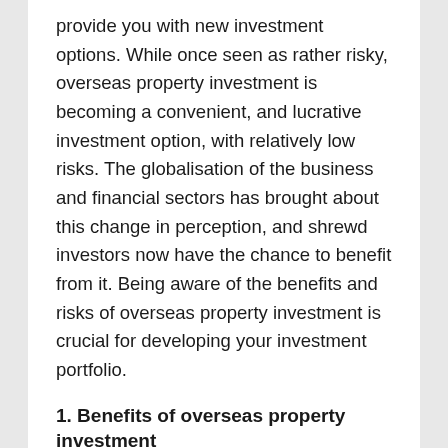provide you with new investment options. While once seen as rather risky, overseas property investment is becoming a convenient, and lucrative investment option, with relatively low risks. The globalisation of the business and financial sectors has brought about this change in perception, and shrewd investors now have the chance to benefit from it. Being aware of the benefits and risks of overseas property investment is crucial for developing your investment portfolio.
1. Benefits of overseas property investment
Portfolio diversification– Investing in